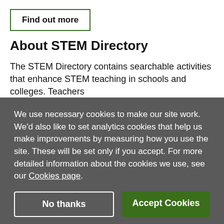Find out more
About STEM Directory
The STEM Directory contains searchable activities that enhance STEM teaching in schools and colleges. Teachers
We use necessary cookies to make our site work. We'd also like to set analytics cookies that help us make improvements by measuring how you use the site. These will be set only if you accept. For more detailed information about the cookies we use, see our Cookies page.
No thanks
Accept Cookies